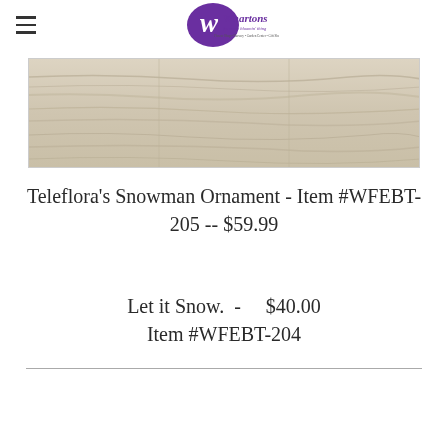Whartons for every bloomin' thing — Flower Shop • Nursery • Garden Center • Gift Shop
[Figure (photo): Close-up photo of a light wood grain flooring plank with grey-beige tones]
Teleflora's Snowman Ornament - Item #WFEBT-205 -- $59.99
Let it Snow.  -    $40.00
Item #WFEBT-204